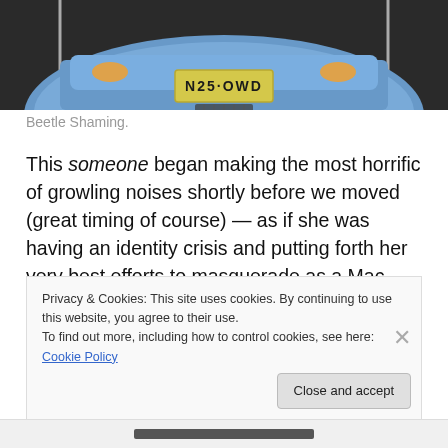[Figure (photo): Front view of a blue VW Beetle parked in a parking lot, showing the front hood and license plate reading N25 OWD]
Beetle Shaming.
This someone began making the most horrific of growling noises shortly before we moved (great timing of course) — as if she was having an identity crisis and putting forth her very best efforts to masquerade as a Mac truck in San Francisco. She was doing such a good job that today we finally had to make a trip to the Union Line Garage today for a consult.
Privacy & Cookies: This site uses cookies. By continuing to use this website, you agree to their use.
To find out more, including how to control cookies, see here: Cookie Policy